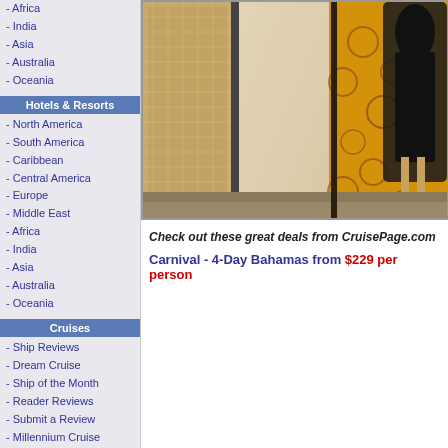- Africa
- India
- Asia
- Australia
- Oceania
Hotels & Resorts
- North America
- South America
- Caribbean
- Central America
- Europe
- Middle East
- Africa
- India
- Asia
- Australia
- Oceania
Cruises
- Ship Reviews
- Dream Cruise
- Ship of the Month
- Reader Reviews
- Submit a Review
- Millennium Cruise
- Join Cruise Club
- Cruise News
- Cruise Survey
- Cruise Jobs
- Special Needs
Reviews
[Figure (photo): Interior lobby or boutique scene showing ornate tiled columns and a mannequin wearing a black dress against a gold patterned background]
Check out these great deals from CruisePage.com
Carnival - 4-Day Bahamas  from $229 per person